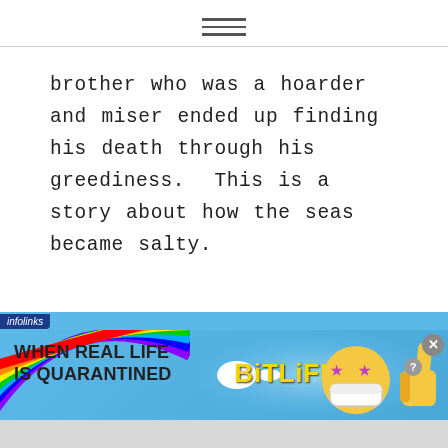≡
brother who was a hoarder and miser ended up finding his death through his greediness.  This is a story about how the seas became salty.
[Figure (infographic): Infolinks advertisement banner for BitLife game. Rainbow arc on left side, text reading 'WHEN REAL LIFE IS QUARANTINED' with an arrow pointing to 'BitLife' logo and emoji graphics. Blue sky-like background with close button in upper right.]